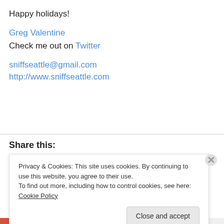Happy holidays!
Greg Valentine
Check me out on Twitter
sniffseattle@gmail.com
http://www.sniffseattle.com
Share this:
Privacy & Cookies: This site uses cookies. By continuing to use this website, you agree to their use.
To find out more, including how to control cookies, see here: Cookie Policy